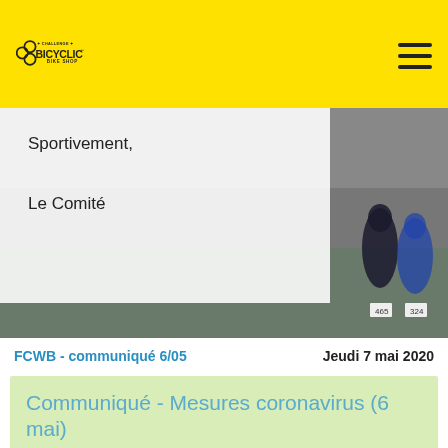CHALLENGE BICYCLIC BIKE SHOP
Sportivement,
Le Comité
[Figure (photo): Cyclists racing in a group, road cycling competition, background blurred]
FCWB - communiqué 6/05
Jeudi 7 mai 2020
Communiqué - Mesures coronavirus (6 mai)
06/05/2020 - Compétitions annulées jusqu'au 1er août